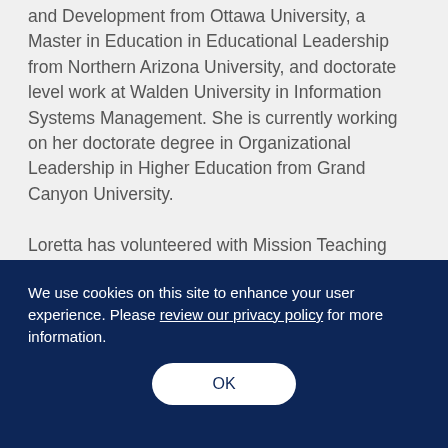and Development from Ottawa University, a Master in Education in Educational Leadership from Northern Arizona University, and doctorate level work at Walden University in Information Systems Management. She is currently working on her doctorate degree in Organizational Leadership in Higher Education from Grand Canyon University.

Loretta has volunteered with Mission Teaching
We use cookies on this site to enhance your user experience. Please review our privacy policy for more information.
OK